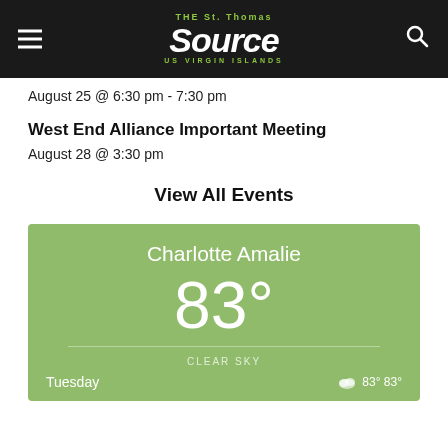THE St. Thomas Source US VIRGIN ISLANDS
August 25 @ 6:30 pm - 7:30 pm
West End Alliance Important Meeting
August 28 @ 3:30 pm
View All Events
[Figure (infographic): Weather widget showing Charlotte Amalie, 83 degrees, Clear Sky, Tuesday with temperature range 83° 83°]